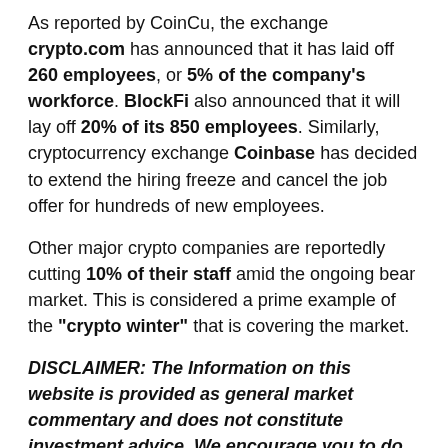As reported by CoinCu, the exchange crypto.com has announced that it has laid off 260 employees, or 5% of the company's workforce. BlockFi also announced that it will lay off 20% of its 850 employees. Similarly, cryptocurrency exchange Coinbase has decided to extend the hiring freeze and cancel the job offer for hundreds of new employees.
Other major crypto companies are reportedly cutting 10% of their staff amid the ongoing bear market. This is considered a prime example of the "crypto winter" that is covering the market.
DISCLAIMER: The Information on this website is provided as general market commentary and does not constitute investment advice. We encourage you to do your own research before investing.
Join CoinCu Telegram to keep track of news: